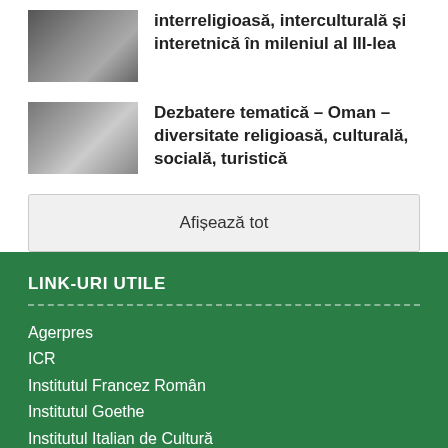interreligioasă, interculturală și interetnică în mileniul al III-lea
Dezbatere tematică – Oman – diversitate religioasă, culturală, socială, turistică
Afișează tot
LINK-URI UTILE
Agerpres
ICR
Institutul Francez Român
Institutul Goethe
Institutul Italian de Cultură
Institutul Cervantes
Institutul EUNIC
Institut du Monde Arabe
Liga Arabă
Ion Iliescu